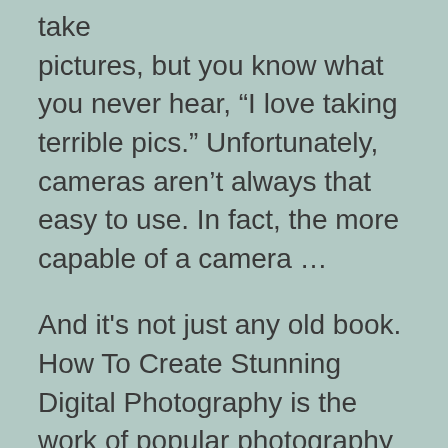take pictures, but you know what you never hear, “I love taking terrible pics.” Unfortunately, cameras aren’t always that easy to use. In fact, the more capable of a camera …
And it's not just any old book. How To Create Stunning Digital Photography is the work of popular photography … than 14 hours of online training videos for all photographers from beginners to …
Together with some of the worlds leading photographers, we have created ebooks,